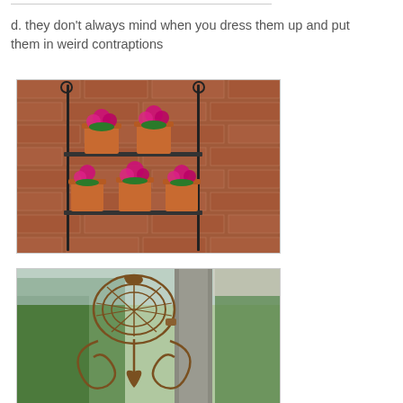d. they don’t always mind when you dress them up and put them in weird contraptions
[Figure (photo): A black wrought-iron two-tier wall shelf holding five terracotta pots with bright pink/magenta flowers, mounted against a red brick wall outdoors.]
[Figure (photo): A decorative cast-iron ornamental bracket or hanger with a bird motif, attached to a wooden post or column, with green trees visible in the background.]